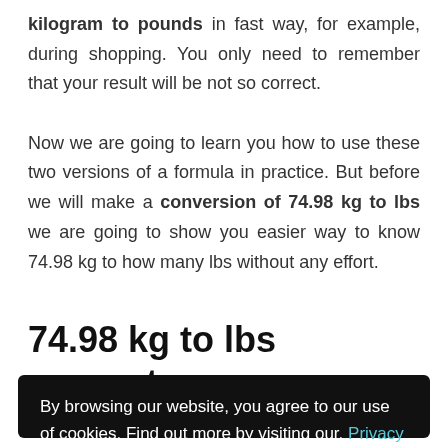kilogram to pounds in fast way, for example, during shopping. You only need to remember that your result will be not so correct.

Now we are going to learn you how to use these two versions of a formula in practice. But before we will make a conversion of 74.98 kg to lbs we are going to show you easier way to know 74.98 kg to how many lbs without any effort.
74.98 kg to lbs converter
By browsing our website, you agree to our use of cookies. Find out more by visiting our. Privacy Policy here. Accept